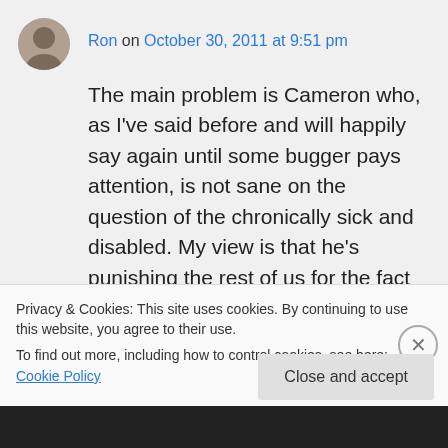Ron on October 30, 2011 at 9:51 pm
The main problem is Cameron who, as I've said before and will happily say again until some bugger pays attention, is not sane on the question of the chronically sick and disabled. My view is that he's punishing the rest of us for the fact that we're alive and his son is dead. RhydianFonJames thinks he's using his dead son as a benchmark – if we're not as disabled as he was, we're
Privacy & Cookies: This site uses cookies. By continuing to use this website, you agree to their use.
To find out more, including how to control cookies, see here: Cookie Policy
Close and accept